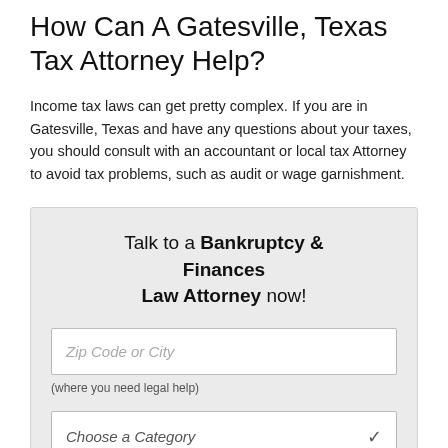How Can A Gatesville, Texas Tax Attorney Help?
Income tax laws can get pretty complex. If you are in Gatesville, Texas and have any questions about your taxes, you should consult with an accountant or local tax Attorney to avoid tax problems, such as audit or wage garnishment.
Talk to a Bankruptcy & Finances Law Attorney now!
Zip Code or City
(where you need legal help)
Choose a Category